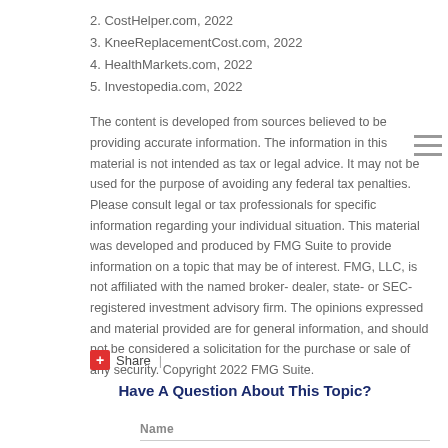2. CostHelper.com, 2022
3. KneeReplacementCost.com, 2022
4. HealthMarkets.com, 2022
5. Investopedia.com, 2022
The content is developed from sources believed to be providing accurate information. The information in this material is not intended as tax or legal advice. It may not be used for the purpose of avoiding any federal tax penalties. Please consult legal or tax professionals for specific information regarding your individual situation. This material was developed and produced by FMG Suite to provide information on a topic that may be of interest. FMG, LLC, is not affiliated with the named broker-dealer, state- or SEC-registered investment advisory firm. The opinions expressed and material provided are for general information, and should not be considered a solicitation for the purchase or sale of any security. Copyright 2022 FMG Suite.
Share |
Have A Question About This Topic?
Name